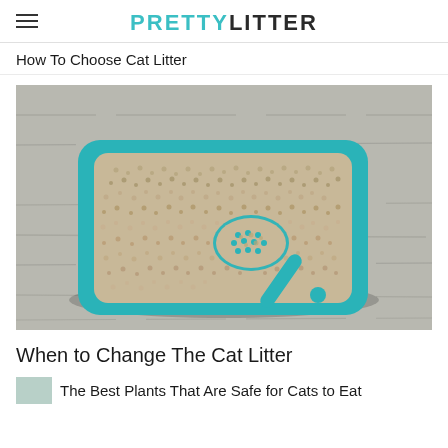PRETTYLITTER
How To Choose Cat Litter
[Figure (photo): Top-down view of a teal/turquoise cat litter box filled with granular cat litter, with a matching teal litter scoop resting inside, placed on a gray wood-grain surface.]
When to Change The Cat Litter
The Best Plants That Are Safe for Cats to Eat